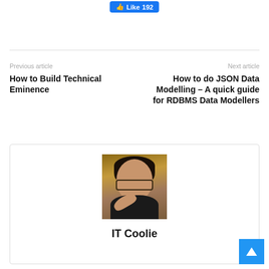[Figure (other): Facebook Like button showing 192 likes]
Previous article
How to Build Technical Eminence
Next article
How to do JSON Data Modelling – A quick guide for RDBMS Data Modellers
[Figure (photo): Profile photo of IT Coolie – young man with glasses resting chin on hand]
IT Coolie